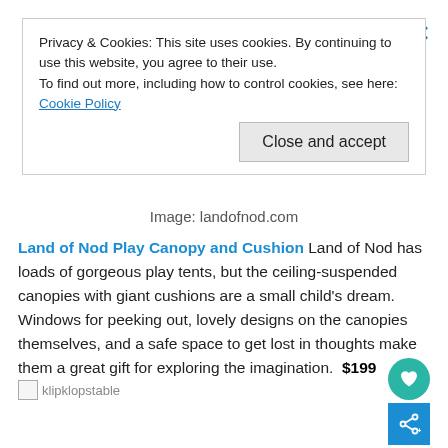Privacy & Cookies: This site uses cookies. By continuing to use this website, you agree to their use.
To find out more, including how to control cookies, see here: Cookie Policy
Close and accept
Image: landofnod.com
Land of Nod Play Canopy and Cushion Land of Nod has loads of gorgeous play tents, but the ceiling-suspended canopies with giant cushions are a small child's dream. Windows for peeking out, lovely designs on the canopies themselves, and a safe space to get lost in thoughts make them a great gift for exploring the imagination. $199
[Figure (photo): klipklopstable image placeholder (broken image)]